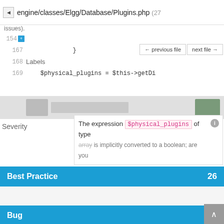engine/classes/Elgg/Database/Plugins.php (27 issues).
154
167    }
168
169    $physical_plugins = $this->getDi
← previous file   next file →
Labels
Best Practice  26
Bug  13
Severity
The expression $physical_plugins of type
... is implicitly converted to a boolean; are you
intend to check for an array without elements.
Major  7
Minor  20
Introduced By
Evan Winslow  20
Steve Clay  6